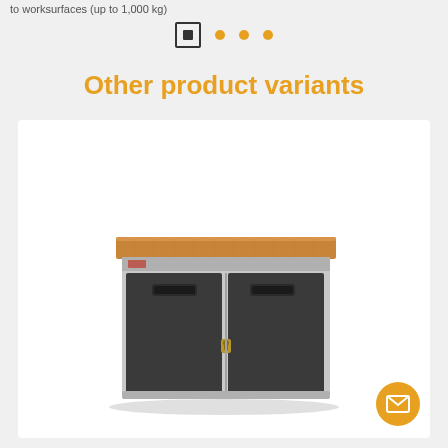to worksurfaces (up to 1,000 kg)
Other product variants
[Figure (photo): A metal workbench cabinet with dark grey double doors (with recessed handles and a centre lock), a light grey frame, and a wooden worktop surface on top.]
[Figure (other): Email contact button (orange circle with white envelope icon)]